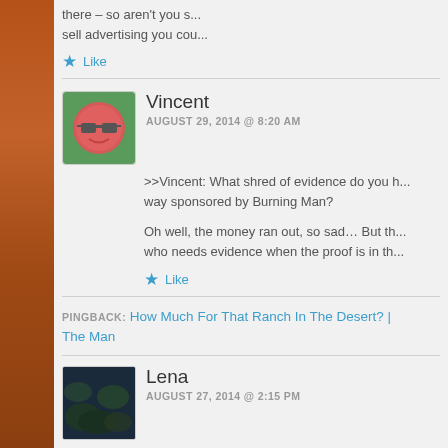there – so aren't you s... sell advertising you cou...
★ Like
Vincent
AUGUST 29, 2014 @ 8:20 AM
>>Vincent: What shred of evidence do you h... way sponsored by Burning Man?
Oh well, the money ran out, so sad… But th... who needs evidence when the proof is in th...
★ Like
PINGBACK: How Much For That Ranch In The Desert? | ... The Man
Lena
AUGUST 27, 2014 @ 2:15 PM